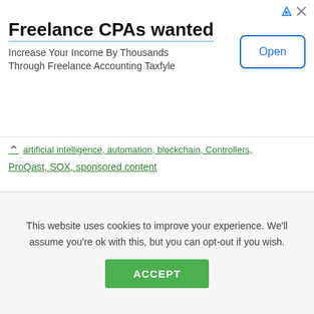[Figure (other): Advertisement banner: Freelance CPAs wanted - Increase Your Income By Thousands Through Freelance Accounting Taxfyle, with Open button]
artificial intelligence, automation, blockchain, Controllers, ProQast, SOX, sponsored content
Comments are closed.
Related articles
This website uses cookies to improve your experience. We'll assume you're ok with this, but you can opt-out if you wish.